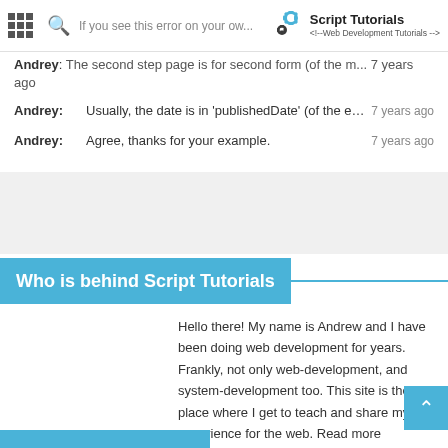Script Tutorials - Web Development Tutorials
Andrey: The second step page is for second form (of the mi... 7 years ago
Andrey: Usually, the date is in 'publishedDate' (of the e... 7 years ago
Andrey: Agree, thanks for your example. 7 years ago
Who is behind Script Tutorials
Hello there! My name is Andrew and I have been doing web development for years. Frankly, not only web-development, and system-development too. This site is the place where I get to teach and share my experience for the web. Read more